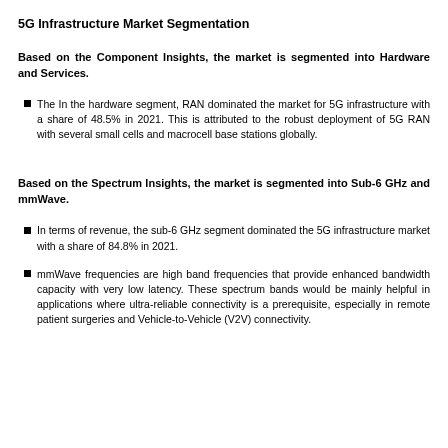5G Infrastructure Market Segmentation
Based on the Component Insights, the market is segmented into Hardware and Services.
The In the hardware segment, RAN dominated the market for 5G infrastructure with a share of 48.5% in 2021. This is attributed to the robust deployment of 5G RAN with several small cells and macrocell base stations globally.
Based on the Spectrum Insights, the market is segmented into Sub-6 GHz and mmWave.
In terms of revenue, the sub-6 GHz segment dominated the 5G infrastructure market with a share of 84.8% in 2021.
mmWave frequencies are high band frequencies that provide enhanced bandwidth capacity with very low latency. These spectrum bands would be mainly helpful in applications where ultra-reliable connectivity is a prerequisite, especially in remote patient surgeries and Vehicle-to-Vehicle (V2V) connectivity.